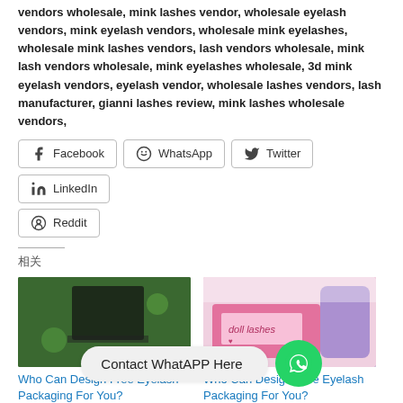vendors wholesale, mink lashes vendor, wholesale eyelash vendors, mink eyelash vendors, wholesale mink eyelashes, wholesale mink lashes vendors, lash vendors wholesale, mink lash vendors wholesale, mink eyelashes wholesale, 3d mink eyelash vendors, eyelash vendor, wholesale lashes vendors, lash manufacturer, gianni lashes review, mink lashes wholesale vendors,
Facebook
WhatsApp
Twitter
LinkedIn
Reddit
相关
[Figure (photo): Close-up photo of eyelashes packaging on green background]
Who Can Design Free Eyelash Packaging For You?
2021-03-03
In "Blog"
[Figure (photo): Eyelash product in pink packaging box with white shredded paper]
Who Can Design Free Eyelash Packaging For You?
Contact WhatAPP Here